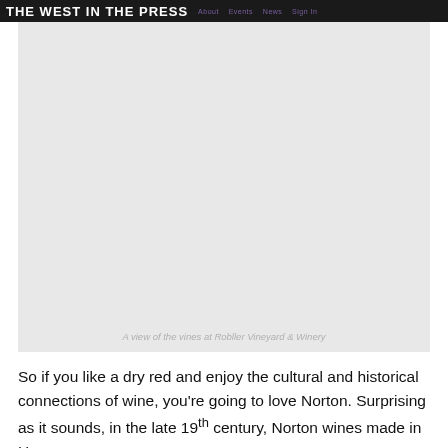THE WEST IN THE PRESS · About · Events · News · Sign In
[Figure (photo): A large photograph of vines at Robller Vineyard & Winery, shown as a light gray placeholder image]
A view of the vines at Robller Vineyard & Winery
So if you like a dry red and enjoy the cultural and historical connections of wine, you're going to love Norton. Surprising as it sounds, in the late 19th century, Norton wines made in Hermann